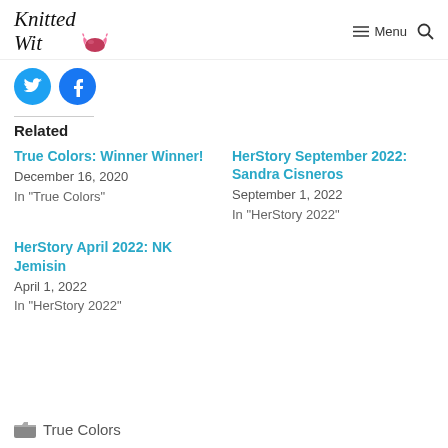Knitted Wit — Menu
[Figure (logo): Knitted Wit logo with cursive text and candy icon]
[Figure (illustration): Twitter and Facebook social share buttons (circular icons)]
Related
True Colors: Winner Winner!
December 16, 2020
In "True Colors"
HerStory September 2022: Sandra Cisneros
September 1, 2022
In "HerStory 2022"
HerStory April 2022: NK Jemisin
April 1, 2022
In "HerStory 2022"
True Colors